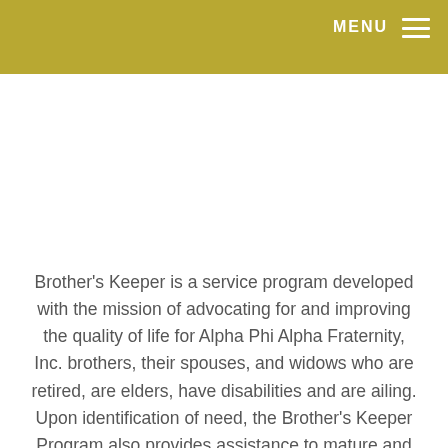MENU
Brother's Keeper is a service program developed with the mission of advocating for and improving the quality of life for Alpha Phi Alpha Fraternity, Inc. brothers, their spouses, and widows who are retired, are elders, have disabilities and are ailing. Upon identification of need, the Brother's Keeper Program also provides assistance to mature and ailing members of its communities. Limitations caused by